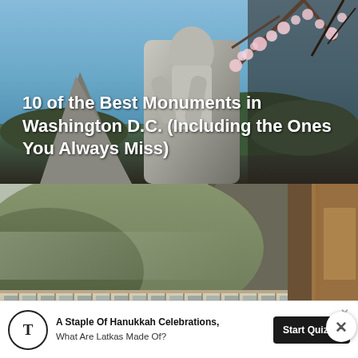[Figure (photo): MLK monument statue with cherry blossoms and blue sky in Washington D.C.]
10 of the Best Monuments in Washington D.C. (Including the Ones You Always Miss)
[Figure (photo): A long passenger train curving through a mountainous landscape with green hills and misty atmosphere, viewed from inside the train window.]
[Figure (photo): Partial strip of a third image visible at the bottom of the page.]
A Staple Of Hanukkah Celebrations, What Are Latkas Made Of? Start Quiz →